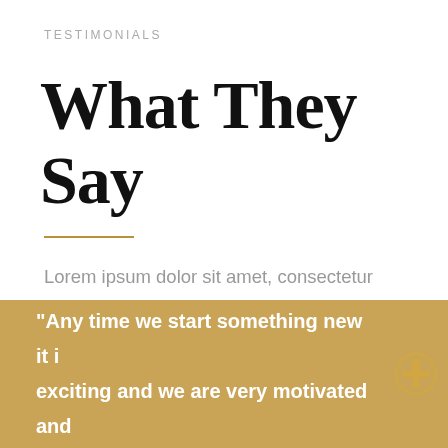TESTIMONIALS
What They Say
Lorem ipsum dolor sit amet, consectetur adipiscing elit. Nulla accumsan, metus ultrices eleifend gravi, nulla nunc varius lectus, nec rutrum justo welcome lectus. Ut vulputate semper dui.
"Any time we start something new it is exciting and we are very motivated and